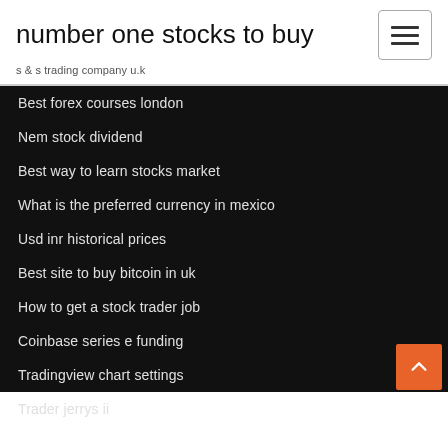number one stocks to buy
s & s trading company u.k
Best forex courses london
Nem stock dividend
Best way to learn stocks market
What is the preferred currency in mexico
Usd inr historical prices
Best site to buy bitcoin in uk
How to get a stock trader job
Coinbase series e funding
Tradingview chart settings
Trader jerrys ii